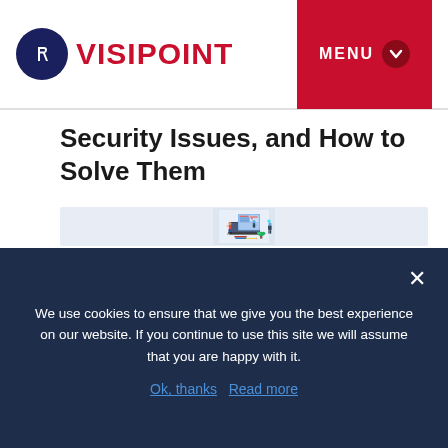VISIPOINT | MENU
Security Issues, and How to Solve Them
[Figure (illustration): Isometric illustration of people working around a laptop with a large screen showing a dashboard, a man holding documents, a woman standing, a plant, and another person standing nearby.]
We use cookies to ensure that we give you the best experience on our website. If you continue to use this site we will assume that you are happy with it.
Ok, thanks   Read more